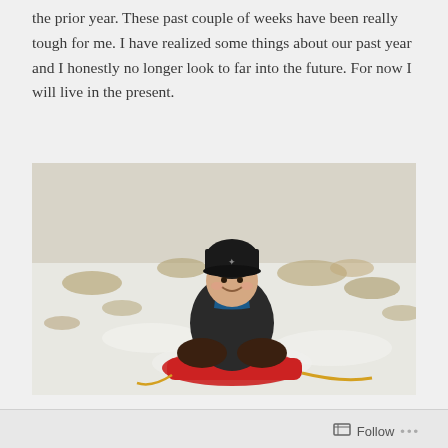the prior year.  These past couple of weeks have been really tough for me.  I have realized some things about our past year and I honestly no longer look to far into the future.  For now I will live in the present.
[Figure (photo): A smiling child wearing a black winter hat and jacket sitting cross-legged on a red sled in a snowy field with dry grass patches in the background.]
Follow